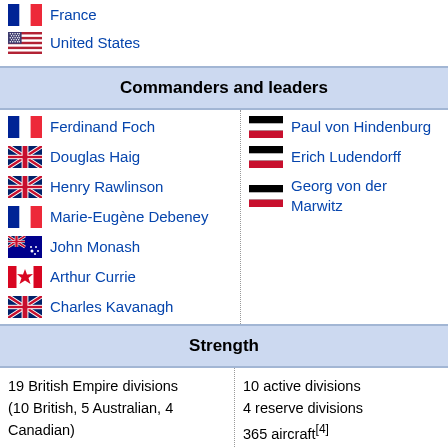France
United States
Commanders and leaders
Ferdinand Foch
Douglas Haig
Henry Rawlinson
Marie-Eugène Debeney
John Monash
Arthur Currie
Charles Kavanagh
Paul von Hindenburg
Erich Ludendorff
Georg von der Marwitz
Strength
19 British Empire divisions (10 British, 5 Australian, 4 Canadian)
10 active divisions
4 reserve divisions
365 aircraft[4]